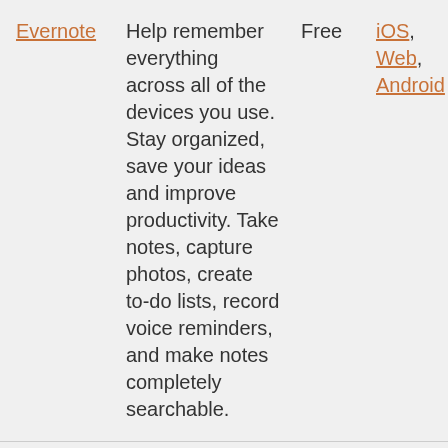| App | Description | Price | Platform | Category |
| --- | --- | --- | --- | --- |
| Evernote | Help remember everything across all of the devices you use. Stay organized, save your ideas and improve productivity. Take notes, capture photos, create to-do lists, record voice reminders, and make notes completely searchable. | Free | iOS, Web, Android | Organization |
| Find My... | Location app that... | Free | iOS, And... | Memo |